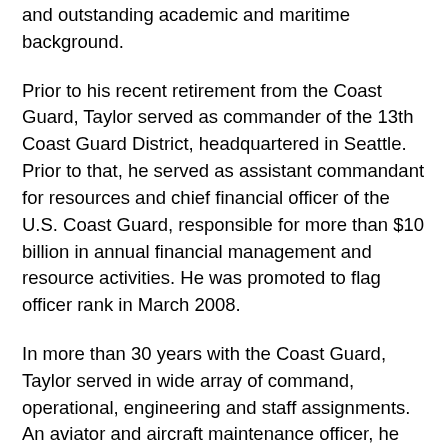and outstanding academic and maritime background.
Prior to his recent retirement from the Coast Guard, Taylor served as commander of the 13th Coast Guard District, headquartered in Seattle. Prior to that, he served as assistant commandant for resources and chief financial officer of the U.S. Coast Guard, responsible for more than $10 billion in annual financial management and resource activities. He was promoted to flag officer rank in March 2008.
In more than 30 years with the Coast Guard, Taylor served in wide array of command, operational, engineering and staff assignments. An aviator and aircraft maintenance officer, he was assigned to numerous air stations and was commanding officer of Air Station Miami from 2003 to 2006. He worked at Coast Guard headquarters in Washington, D.C., from 1996 to 2000 where, among other responsibilities, he conducted program review and budget development for all Coast Guard law enforcement, intelligence and international-affairs activities. He also served as deputy chief of staff of the Coast Guard from 2006 to 2008, directing service-wide